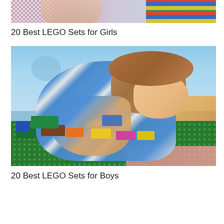[Figure (photo): Cropped top portion of an image showing a child and colorful LEGO blocks with a checkered pattern visible]
20 Best LEGO Sets for Girls
[Figure (photo): A young toddler boy in a blue striped shirt with a yellow wristband playing with colorful LEGO Duplo bricks on a green baseplate in a colorful room]
20 Best LEGO Sets for Boys